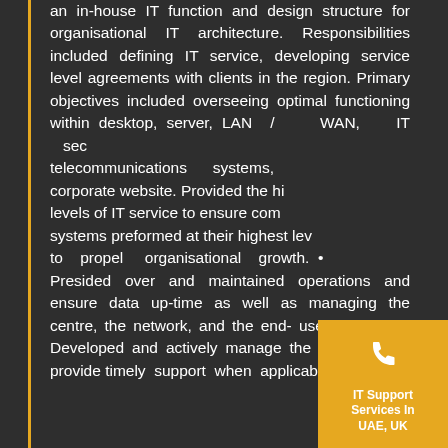an in-house IT function and design structure for organisational IT architecture. Responsibilities included defining IT service, developing service level agreements with clients in the region. Primary objectives included overseeing optimal functioning within desktop, server, LAN / WAN, IT security, telecommunications systems, and corporate website. Provided the highest levels of IT service to ensure company systems preformed at their highest levels to propel organisational growth. • Presided over and maintained operations and ensure data up-time as well as managing the centre, the network, and the end- user systems. • Developed and actively manage the help desk to provide timely support when applicable
[Figure (other): Gold/yellow square badge with phone icon and text: IT Support Services In UAE, UK]